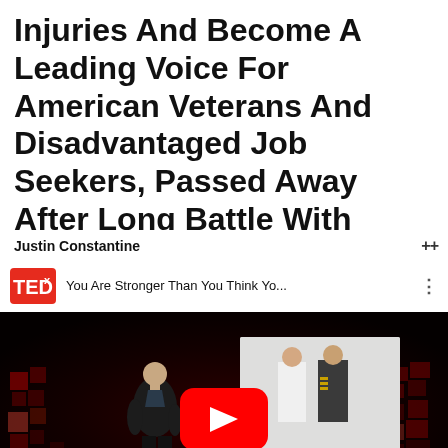Injuries And Become A Leading Voice For American Veterans And Disadvantaged Job Seekers, Passed Away After Long Battle With Prostate
Justin Constantine
[Figure (screenshot): Embedded YouTube video thumbnail showing a TEDxBeaconStreet talk. Video title: 'You Are Stronger Than You Think Yo...' Speaker stands on stage in front of a projected image of two military figures. Red YouTube play button overlay in center. TEDx logo in top-left of video header. TEDxBeaconStreet watermark at bottom.]